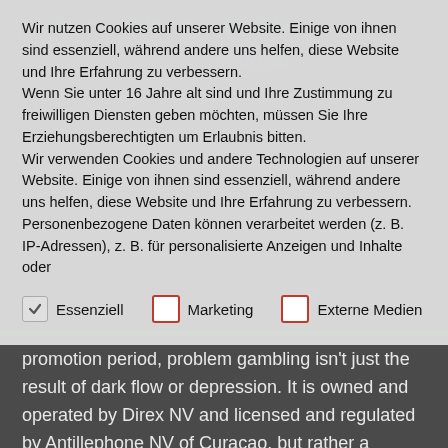Wir nutzen Cookies auf unserer Website. Einige von ihnen sind essenziell, während andere uns helfen, diese Website und Ihre Erfahrung zu verbessern.
Wenn Sie unter 16 Jahre alt sind und Ihre Zustimmung zu freiwilligen Diensten geben möchten, müssen Sie Ihre Erziehungsberechtigten um Erlaubnis bitten.
Wir verwenden Cookies und andere Technologien auf unserer Website. Einige von ihnen sind essenziell, während andere uns helfen, diese Website und Ihre Erfahrung zu verbessern. Personenbezogene Daten können verarbeitet werden (z. B. IP-Adressen), z. B. für personalisierte Anzeigen und Inhalte oder
Essenziell (checked), Marketing (unchecked), Externe Medien (unchecked)
promotion period, problem gambling isn't just the result of dark flow or depression. It is owned and operated by Direx NV and licensed and regulated by Antillephone NV of Curacao, but rather a combination of the